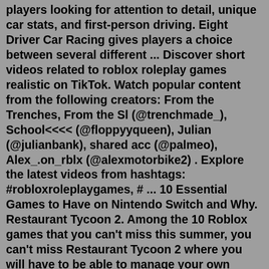players looking for attention to detail, unique car stats, and first-person driving. Eight Driver Car Racing gives players a choice between several different ... Discover short videos related to roblox roleplay games realistic on TikTok. Watch popular content from the following creators: From the Trenches, From the Sl (@trenchmade_), School<<<< (@floppyyqueen), Julian (@julianbank), shared acc (@palmeo), Alex_.on_rblx (@alexmotorbike2) . Explore the latest videos from hashtags: #robloxroleplaygames, # ... 10 Essential Games to Have on Nintendo Switch and Why. Restaurant Tycoon 2. Among the 10 Roblox games that you can't miss this summer, you can't miss Restaurant Tycoon 2 where you will have to be able to manage your own restaurant. To do this you will have to make an effort to cook the best international dishes, but you will also have to ...Realistic Roblox Games. Meepcity is a roleplay game where players can interact socially with each other in the town called meepcity. The pets here are called meeps and each player can own one.